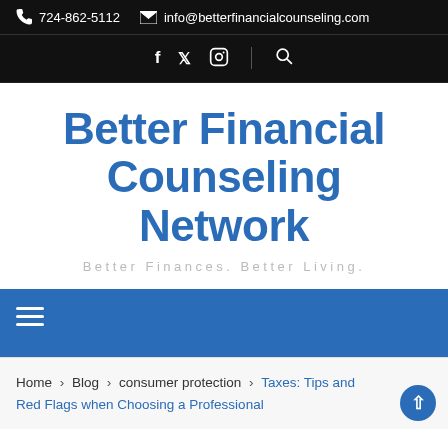724-862-5112   info@betterfinancialcounseling.com
[Figure (screenshot): Social media icons: Facebook, Twitter, Instagram, and search icon on black bar]
Better Financial Counseling Network
Better Finances. Better Living.
[Figure (infographic): Blue navigation bar with hamburger menu icon]
Home > Blog > consumer protection > Taxes: Tips and Red Flags when Choosing a Professional